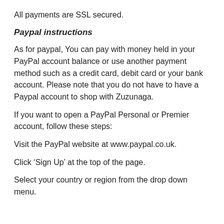All payments are SSL secured.
Paypal instructions
As for paypal, You can pay with money held in your PayPal account balance or use another payment method such as a credit card, debit card or your bank account. Please note that you do not have to have a Paypal account to shop with Zuzunaga.
If you want to open a PayPal Personal or Premier account, follow these steps:
Visit the PayPal website at www.paypal.co.uk.
Click ‘Sign Up’ at the top of the page.
Select your country or region from the drop down menu.